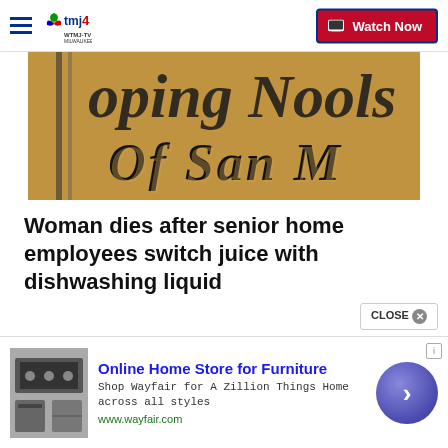WTMJ-TV MILWAUKEE | Watch Now
[Figure (screenshot): Close-up photo of ornate metal lettering on a sign, showing partial text 'OF SAN M...' in decorative gold/bronze script font against a blurred background]
Woman dies after senior home employees switch juice with dishwashing liquid
[Figure (photo): Advertisement: Online Home Store for Furniture - Shop Wayfair for A Zillion Things Home across all styles. www.wayfair.com. Shows furniture/appliance thumbnail image and a blue circular arrow button.]